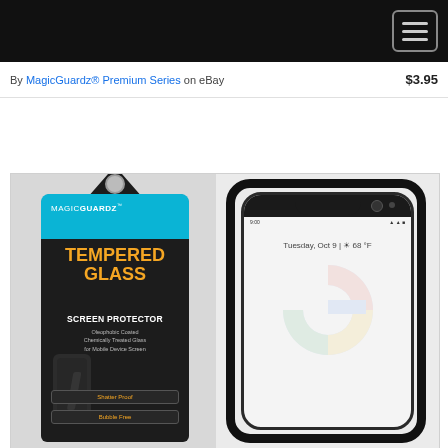By MagicGuardz® Premium Series  on eBay   $3.95
[Figure (photo): Product listing image showing a MagicGuardz Tempered Glass Screen Protector packaging on the left (black box with blue band, orange text reading TEMPERED GLASS SCREEN PROTECTOR), and on the right a tempered glass protector displayed on a Google Pixel 3 XL smartphone showing Tuesday, Oct 9 | 68°F on screen.]